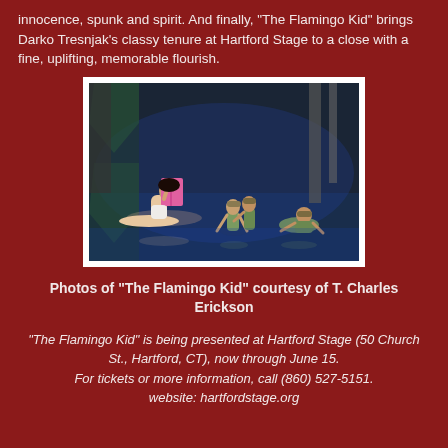innocence, spunk and spirit. And finally, "The Flamingo Kid" brings Darko Tresnjak's classy tenure at Hartford Stage to a close with a fine, uplifting, memorable flourish.
[Figure (photo): Stage production photo from 'The Flamingo Kid' at Hartford Stage showing a woman in a white bikini and sunglasses reading a pink book while reclining, with three male dancers/performers posing around her on a blue-lit stage floor.]
Photos of "The Flamingo Kid" courtesy of T. Charles Erickson
"The Flamingo Kid" is being presented at Hartford Stage (50 Church St., Hartford, CT), now through June 15. For tickets or more information, call (860) 527-5151. website: hartfordstage.org